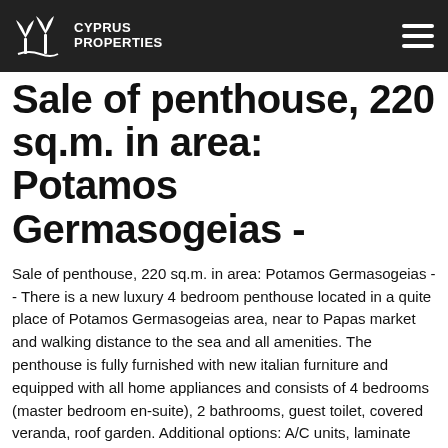CYPRUS PROPERTIES
Sale of penthouse, 220 sq.m. in area: Potamos Germasogeias -
Sale of penthouse, 220 sq.m. in area: Potamos Germasogeias - - There is a new luxury 4 bedroom penthouse located in a quite place of Potamos Germasogeias area, near to Papas market and walking distance to the sea and all amenities. The penthouse is fully furnished with new italian furniture and equipped with all home appliances and consists of 4 bedrooms (master bedroom en-suite), 2 bathrooms, guest toilet, covered veranda, roof garden. Additional options: A/C units, laminate floors, heating system, TV. Available a double covered parking and secure storage. - distance to sea : 300 m longitude: 33.0909 latitude: 34.6987
QR Codes for Penthouse in Limassol (Potamos Germasogeias)